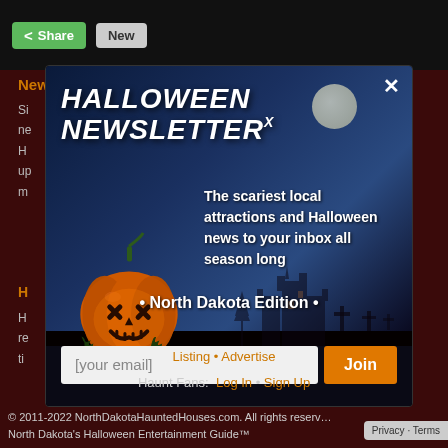Share  New
Newsletter
About
[Figure (screenshot): Halloween Newsletter modal popup with pumpkin illustration and haunted house background. Title: HALLOWEEN NEWSLETTER. Text: The scariest local attractions and Halloween news to your inbox all season long. North Dakota Edition. Email input field with Join button.]
Listing  •  Advertise
Haunt Fans:  Log In  •  Sign Up
© 2011-2022 NorthDakotaHauntedHouses.com. All rights reserved. North Dakota's Halloween Entertainment Guide™